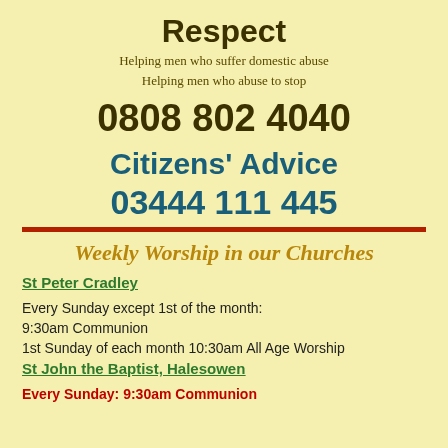Respect
Helping men who suffer domestic abuse
Helping men who abuse to stop
0808 802 4040
Citizens' Advice
03444 111 445
Weekly Worship in our Churches
St Peter Cradley
Every Sunday except 1st of the month:
9:30am Communion
1st Sunday of each month 10:30am All Age Worship
St John the Baptist, Halesowen
Every Sunday:  9:30am Communion